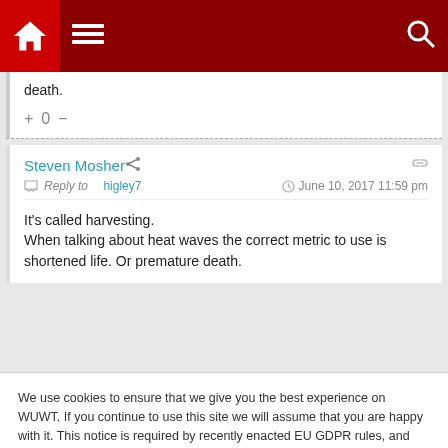[Figure (screenshot): Website navigation bar with dark red background, home icon in red box, hamburger menu icon, and search icon]
death.
+ 0 -
Steven Mosher   Reply to higley7   June 10, 2017 11:59 pm
It's called harvesting.
When talking about heat waves the correct metric to use is shortened life. Or premature death.
We use cookies to ensure that we give you the best experience on WUWT. If you continue to use this site we will assume that you are happy with it. This notice is required by recently enacted EU GDPR rules, and since WUWT is a globally read website, we need to keep the bureaucrats off our case! Cookie Policy
Close and accept
probably more to do with dehydration or exertion"